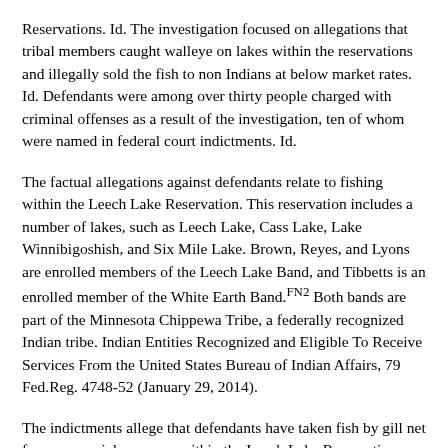Reservations. Id. The investigation focused on allegations that tribal members caught walleye on lakes within the reservations and illegally sold the fish to non Indians at below market rates. Id. Defendants were among over thirty people charged with criminal offenses as a result of the investigation, ten of whom were named in federal court indictments. Id.
The factual allegations against defendants relate to fishing within the Leech Lake Reservation. This reservation includes a number of lakes, such as Leech Lake, Cass Lake, Lake Winnibigoshish, and Six Mile Lake. Brown, Reyes, and Lyons are enrolled members of the Leech Lake Band, and Tibbetts is an enrolled member of the White Earth Band.FN2 Both bands are part of the Minnesota Chippewa Tribe, a federally recognized Indian tribe. Indian Entities Recognized and Eligible To Receive Services From the United States Bureau of Indian Affairs, 79 Fed.Reg. 4748-52 (January 29, 2014).
The indictments allege that defendants have taken fish by gill net for commercial purposes within the Leech Lake Reservation, violating the licensing requirements...